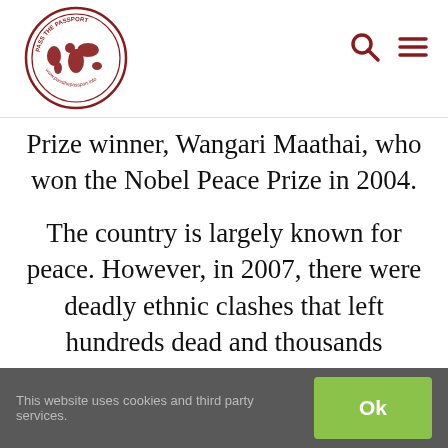[Figure (logo): Pass the Passport circular logo with world map in dark red/maroon on white background with text around the border]
Prize winner, Wangari Maathai, who won the Nobel Peace Prize in 2004.
The country is largely known for peace. However, in 2007, there were deadly ethnic clashes that left hundreds dead and thousands
This website uses cookies and third party services.  Ok